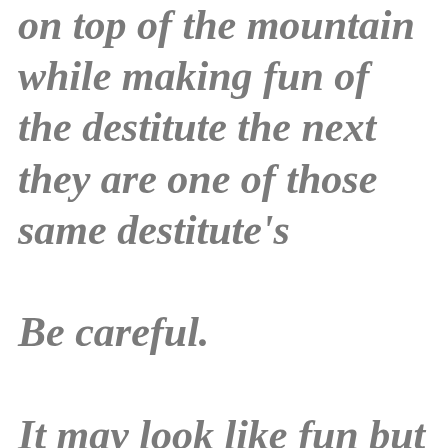on top of the mountain while making fun of the destitute the next they are one of those same destitute's

Be careful.

It may look like fun but it